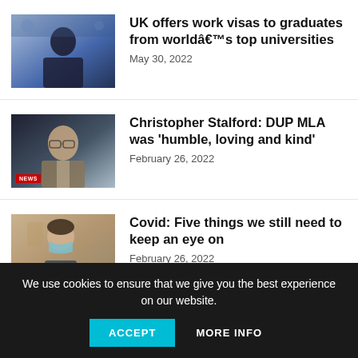[Figure (photo): Photo of a man in a suit speaking at a conference with a blue background]
UK offers work visas to graduates from worldâs top universities
May 30, 2022
[Figure (photo): Photo of a man with glasses in a dark setting with a NEWS badge overlay]
Christopher Stalford: DUP MLA was 'humble, loving and kind'
February 26, 2022
[Figure (photo): Photo of a woman wearing a face mask in a public setting]
Covid: Five things we still need to keep an eye on
February 26, 2022
We use cookies to ensure that we give you the best experience on our website.
ACCEPT
MORE INFO